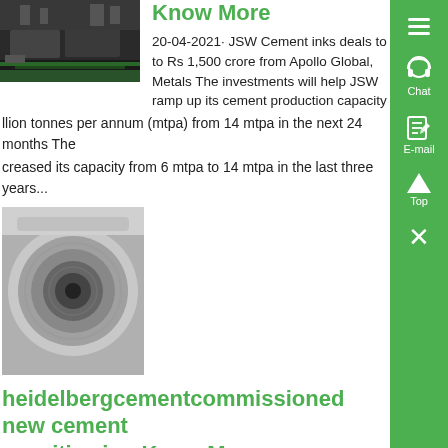[Figure (photo): Aerial/ground view of industrial area with green markings on ground, trucks visible]
Know More
20-04-2021· JSW Cement inks deals to Rs 1,500 crore from Apollo Global, Metals The investments will help JSW ramp up its cement production capacity
llion tonnes per annum (mtpa) from 14 mtpa in the next 24 months The creased its capacity from 6 mtpa to 14 mtpa in the last three years...
[Figure (photo): Close-up interior view of a cylindrical cement mill or kiln tube]
heidelbergcementcommissioned new cement apacities in - Know More
ement industry news and events from World Cement with the The latest